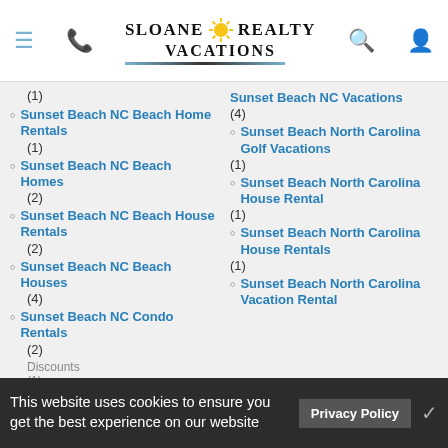Sloane Realty Vacations - navigation bar with menu, phone, logo, search, account icons
(1)
Sunset Beach NC Beach Home Rentals (1)
Sunset Beach NC Beach Homes (2)
Sunset Beach NC Beach House Rentals (2)
Sunset Beach NC Beach Houses (4)
Sunset Beach NC Condo Rentals (2)
Sunset Beach NC Vacations (4)
Sunset Beach North Carolina Golf Vacations (1)
Sunset Beach North Carolina House Rental (1)
Sunset Beach North Carolina House Rentals (1)
Sunset Beach North Carolina Vacation Rental
This website uses cookies to ensure you get the best experience on our website
Privacy Policy